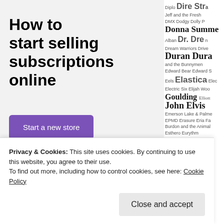How to start selling subscriptions online
[Figure (illustration): Purple button labeled 'Start a new store']
[Figure (illustration): Decorative abstract teal and cyan geometric shapes at the bottom of the left panel]
Diplo Dire Stra Jeff and the Fresh DMX Dodgy Dolly P Donna Summe Alban Dr. Dre n Dream Warriors Drive Duran Dura and the Bunnymen Edward Bear Edward S Eels Elastica Elec Electric Six Elijah Woo Goulding Elliott John Elvis Emerson Lake & Palme EPMD Erasure Eria Fa Burdon and the Animal Esthero Eurythm ith Fat
Privacy & Cookies: This site uses cookies. By continuing to use this website, you agree to their use.
To find out more, including how to control cookies, see here: Cookie Policy
Close and accept